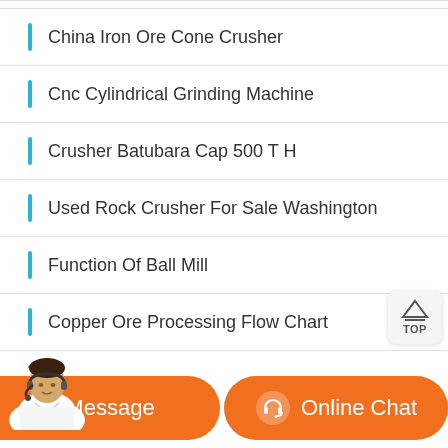China Iron Ore Cone Crusher
Cnc Cylindrical Grinding Machine
Crusher Batubara Cap 500 T H
Used Rock Crusher For Sale Washington
Function Of Ball Mill
Copper Ore Processing Flow Chart
Ball Mill Manufacturer Ahmedabad